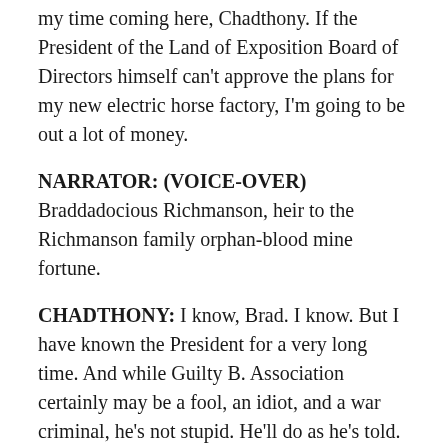my time coming here, Chadthony. If the President of the Land of Exposition Board of Directors himself can't approve the plans for my new electric horse factory, I'm going to be out a lot of money.
NARRATOR: (VOICE-OVER) Braddadocious Richmanson, heir to the Richmanson family orphan-blood mine fortune.
CHADTHONY: I know, Brad. I know. But I have known the President for a very long time. And while Guilty B. Association certainly may be a fool, an idiot, and a war criminal, he's not stupid. He'll do as he's told.
NARRATOR: (VOICE-OVER) Senator Chadthony Screwem, elected representative of the City of Pushover and collector of lost souls.